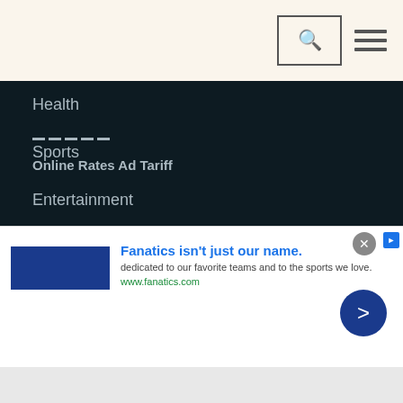Navigation menu with search and hamburger icons
Health
Sports
Entertainment
Others
---- Online Rates Ad Tariff
[Figure (infographic): Advertisement banner: Fanatics isn't just our name. dedicated to our favorite teams and to the sports we love. www.fanatics.com]